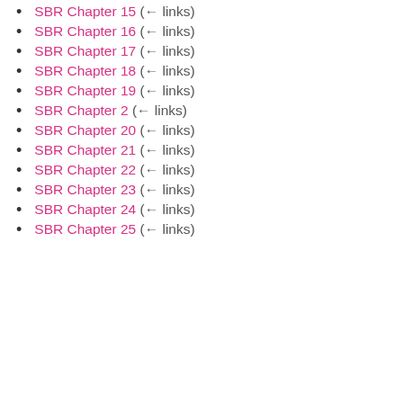SBR Chapter 15  (← links)
SBR Chapter 16  (← links)
SBR Chapter 17  (← links)
SBR Chapter 18  (← links)
SBR Chapter 19  (← links)
SBR Chapter 2  (← links)
SBR Chapter 20  (← links)
SBR Chapter 21  (← links)
SBR Chapter 22  (← links)
SBR Chapter 23  (← links)
SBR Chapter 24  (← links)
SBR Chapter 25  (← links)